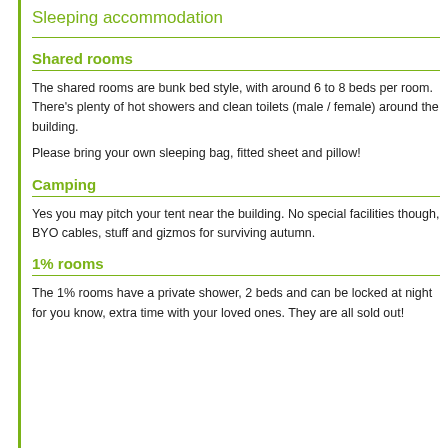Sleeping accommodation
Shared rooms
The shared rooms are bunk bed style, with around 6 to 8 beds per room. There's plenty of hot showers and clean toilets (male / female) around the building.
Please bring your own sleeping bag, fitted sheet and pillow!
Camping
Yes you may pitch your tent near the building. No special facilities though, BYO cables, stuff and gizmos for surviving autumn.
1% rooms
The 1% rooms have a private shower, 2 beds and can be locked at night for you know, extra time with your loved ones. They are all sold out!